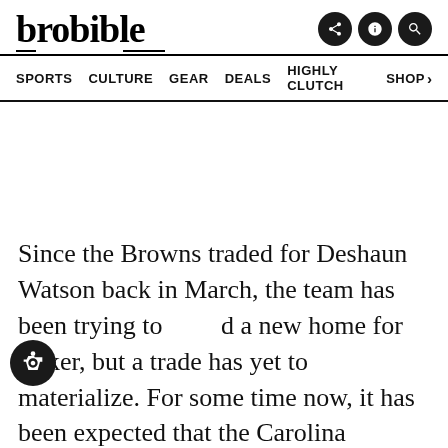brobible
SPORTS  CULTURE  GEAR  DEALS  HIGHLY CLUTCH  SHOP >
Since the Browns traded for Deshaun Watson back in March, the team has been trying to find a new home for Baker, but a trade has yet to materialize. For some time now, it has been expected that the Carolina Panthers would be the team to eventually make a move for Baker, but the team has been dragging their feet on...